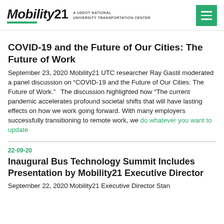Mobility21 — A USDOT National University Transportation Center
COVID-19 and the Future of Our Cities: The Future of Work
September 23, 2020 Mobility21 UTC researcher Ray Gastil moderated a panel discussion on “COVID-19 and the Future of Our Cities: The Future of Work.”  The discussion highlighted how “The current pandemic accelerates profound societal shifts that will have lasting effects on how we work going forward. With many employers successfully transitioning to remote work, we do whatever you want to update
22-09-20
Inaugural Bus Technology Summit Includes Presentation by Mobility21 Executive Director
September 22, 2020 Mobility21 Executive Director Stan